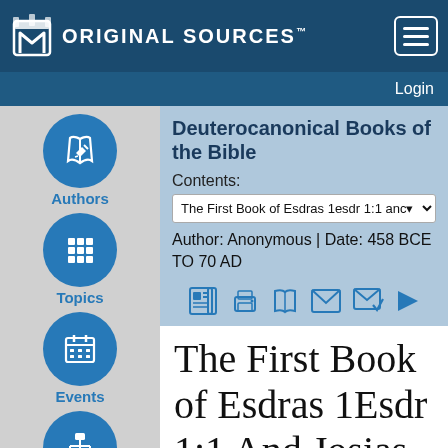Original Sources™
Login
Deuterocanonical Books of the Bible
Contents:
The First Book of Esdras 1esdr 1:1 anc▾
Author: Anonymous  |  Date: 458 BCE TO 70 AD
Authors
Topics
Events
Contents
The First Book of Esdras 1Esdr 1:1 And Josias held the feast of the